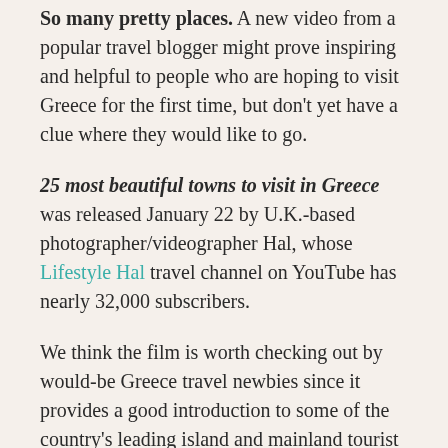So many pretty places. A new video from a popular travel blogger might prove inspiring and helpful to people who are hoping to visit Greece for the first time, but don't yet have a clue where they would like to go.
25 most beautiful towns to visit in Greece was released January 22 by U.K.-based photographer/videographer Hal, whose Lifestyle Hal travel channel on YouTube has nearly 32,000 subscribers.
We think the film is worth checking out by would-be Greece travel newbies since it provides a good introduction to some of the country's leading island and mainland tourist destinations.
The video clocks in at just over 27 minutes, profiling each place in its own distinct and succinct segment of approximately one minute apiece. Beautiful aerial and